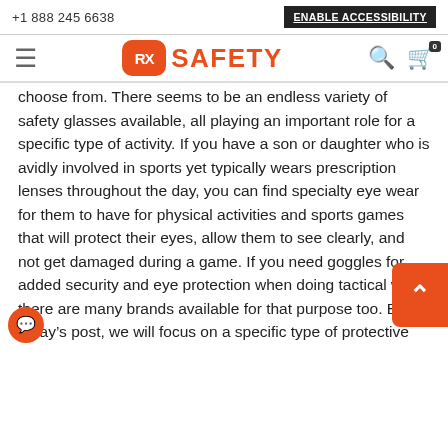+1 888 245 6638 | ENABLE ACCESSIBILITY
[Figure (logo): RX Safety logo with orange rounded rectangle and site navigation including hamburger menu, search icon, and cart icon]
choose from. There seems to be an endless variety of safety glasses available, all playing an important role for a specific type of activity. If you have a son or daughter who is avidly involved in sports yet typically wears prescription lenses throughout the day, you can find specialty eye wear for them to have for physical activities and sports games that will protect their eyes, allow them to see clearly, and not get damaged during a game. If you need goggles for added security and eye protection when doing tactical work, there are many brands available for that purpose too. But in today’s post, we will focus on a specific type of protective eyewear that can be used for multiple reasons: photochromic safety glasses. Photochromic safety